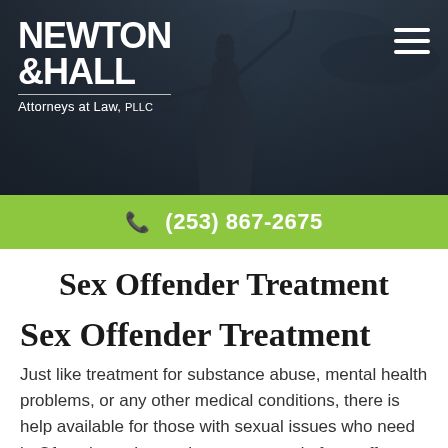[Figure (photo): Header banner with statue of Justice (Lady Justice) holding scales, dark blue-gray background with logo overlay]
NEWTON &HALL Attorneys at Law, PLLC
(253) 867-2675
Sex Offender Treatment
Sex Offender Treatment
Just like treatment for substance abuse, mental health problems, or any other medical conditions, there is help available for those with sexual issues who need it. Often times those who are accused of sex offenses